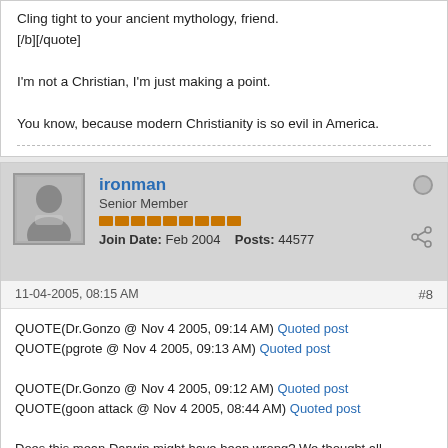Cling tight to your ancient mythology, friend.
[/b][/quote]
I'm not a Christian, I'm just making a point.
You know, because modern Christianity is so evil in America.
ironman
Senior Member
Join Date: Feb 2004   Posts: 44577
11-04-2005, 08:15 AM
#8
QUOTE(Dr.Gonzo @ Nov 4 2005, 09:14 AM) Quoted post
QUOTE(pgrote @ Nov 4 2005, 09:13 AM) Quoted post

QUOTE(Dr.Gonzo @ Nov 4 2005, 09:12 AM) Quoted post
QUOTE(goon attack @ Nov 4 2005, 08:44 AM) Quoted post

Does this mean Darwin might have been wrong? We thought all scientific theories were set in stone!

Sincerely,

Molting Liberal Christophobes